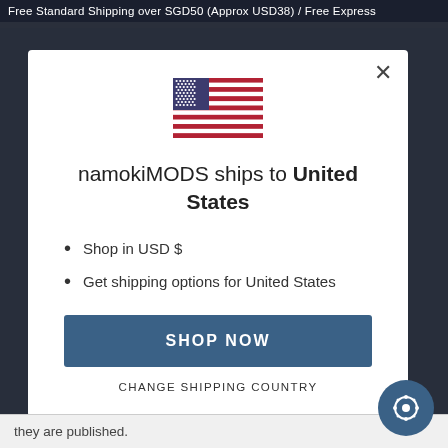Free Standard Shipping over SGD50 (Approx USD38) / Free Express
[Figure (illustration): US flag illustration in modal dialog]
namokiMODS ships to United States
Shop in USD $
Get shipping options for United States
SHOP NOW
CHANGE SHIPPING COUNTRY
they are published.